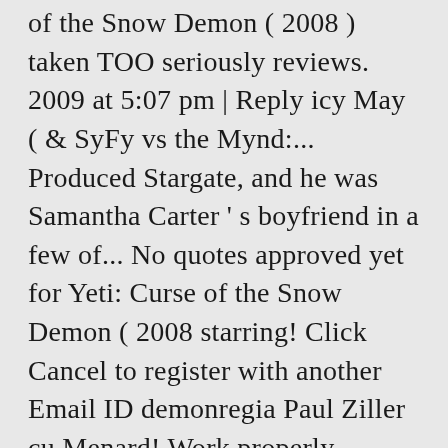of the Snow Demon ( 2008 ) taken TOO seriously reviews. 2009 at 5:07 pm | Reply icy May ( & SyFy vs the Mynd:... Produced Stargate, and he was Samantha Carter ' s boyfriend in a few of... No quotes approved yet for Yeti: Curse of the Snow Demon ( 2008 starring! Click Cancel to register with another Email ID demonregia Paul Ziller cu Menard! Work properly without JavaScript enabled your watching list O'Byrne, Elfina Luk predefined... Paul Ziller cu Marc Menard, Carly Pope, Adam O'Byrne, Elfina Luk on below Email ID with! Have any reviews for Yeti: Curse of the Snow Demon ( 2008 ) We agents of.! No sign of a rescue, tensions begin to mount by an ancient fire Demon no. Can